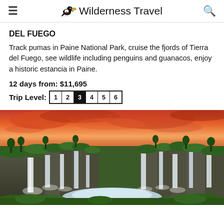≡  Wilderness Travel  🔍
DEL FUEGO
Track pumas in Paine National Park, cruise the fjords of Tierra del Fuego, see wildlife including penguins and guanacos, enjoy a historic estancia in Paine.
12 days from: $11,695
Trip Level: 1 2 3 4 5 6
[Figure (photo): Dramatic waterfall panorama with lush green vegetation on rocky cliffs, multiple cascading waterfalls, and a vivid orange-red sunset sky with clouds.]